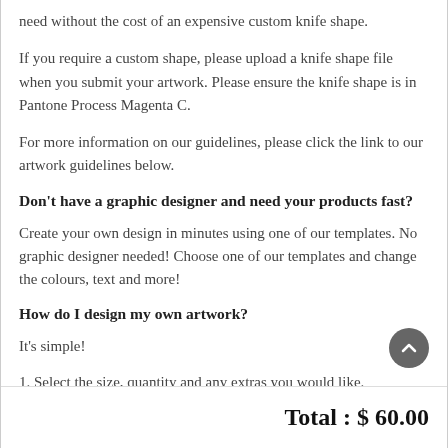need without the cost of an expensive custom knife shape.
If you require a custom shape, please upload a knife shape file when you submit your artwork. Please ensure the knife shape is in Pantone Process Magenta C.
For more information on our guidelines, please click the link to our artwork guidelines below.
Don't have a graphic designer and need your products fast?
Create your own design in minutes using one of our templates. No graphic designer needed! Choose one of our templates and change the colours, text and more!
How do I design my own artwork?
It's simple!
1. Select the size, quantity and any extras you would like.
Total : $ 60.00